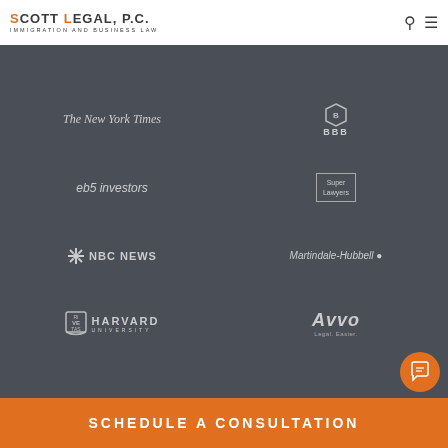SCOTT LEGAL, P.C. IMMIGRATION AND BUSINESS LAW
[Figure (logo): The New York Times logo in serif italic font]
[Figure (logo): BBB (Better Business Bureau) logo with hexagon icon and BBB text]
[Figure (logo): eb5 investors logo in italic text]
[Figure (logo): Super Lawyers badge in a box]
[Figure (logo): NBC News logo with peacock icon]
[Figure (logo): Martindale-Hubbell logo in italic text]
[Figure (logo): Harvard University logo with shield and text]
[Figure (logo): Avvo Legal. Easier. logo]
SCHEDULE A CONSULTATION